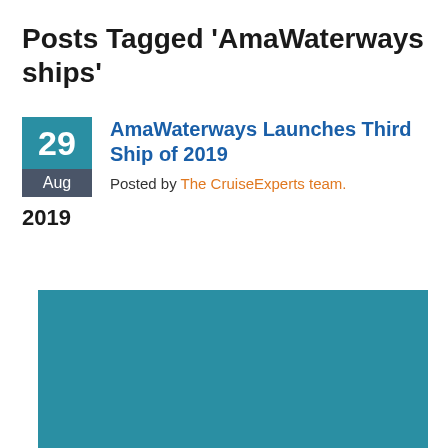Posts Tagged ‘AmaWaterways ships’
AmaWaterways Launches Third Ship of 2019
Posted by The CruiseExperts team.
2019
[Figure (photo): Large teal/blue rectangular image block, partially cropped, representing a ship or cruise-related photo.]